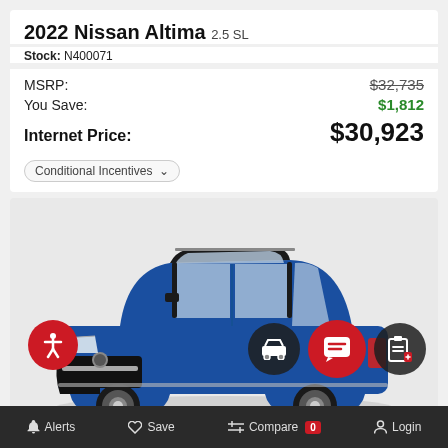2022 Nissan Altima 2.5 SL
Stock: N400071
| Label | Value |
| --- | --- |
| MSRP: | $32,735 |
| You Save: | $1,812 |
| Internet Price: | $30,923 |
Conditional Incentives
[Figure (photo): Blue 2022 Nissan SUV (Rogue/similar) shown in three-quarter front view on white background]
Alerts  Save  Compare 0  Login